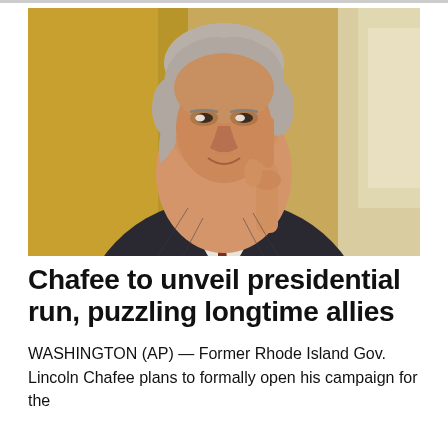[Figure (photo): A middle-aged man with gray hair wearing a dark pinstripe suit and tie, raising one finger as if making a point. He is seated indoors with a warm background.]
Chafee to unveil presidential run, puzzling longtime allies
WASHINGTON (AP) — Former Rhode Island Gov. Lincoln Chafee plans to formally open his campaign for the